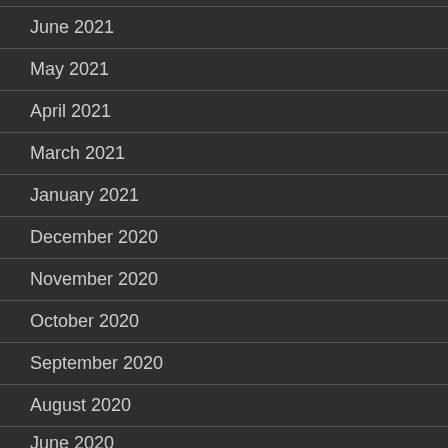June 2021
May 2021
April 2021
March 2021
January 2021
December 2020
November 2020
October 2020
September 2020
August 2020
June 2020